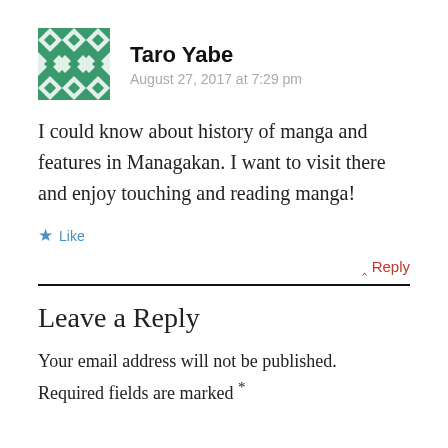[Figure (illustration): Green and white geometric/diamond pattern avatar image for user Taro Yabe]
Taro Yabe
August 27, 2017 at 7:29 pm
I could know about history of manga and features in Managakan. I want to visit there and enjoy touching and reading manga!
★ Like
^ Reply
Leave a Reply
Your email address will not be published. Required fields are marked *